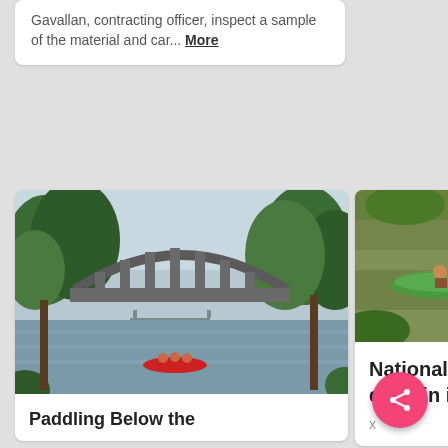Gavallan, contracting officer, inspect a sample of the material and car... More
[Figure (photo): Scenic river view with a large stone arch bridge in the background, green trees lining the banks, and a red canoe with paddlers in the foreground]
Paddling Below the
[Figure (photo): Aerial or close view of kayaks and boats on a murky river surrounded by vegetation]
National parks: x - public domain image
x